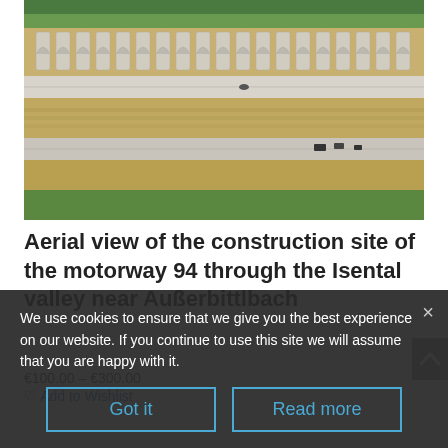[Figure (photo): Aerial view of a motorway construction site through an agricultural valley. Shows concrete support structures (arched viaduct piers) aligned in a row, with roadbed sections and surrounding green and dry fields visible from above.]
Aerial view of the construction site of the motorway 94 through the Isental valley near Außerbittlbach
€100.00 – €300.00
♡ Add to Wishlist
We use cookies to ensure that we give you the best experience on our website. If you continue to use this site we will assume that you are happy with it.